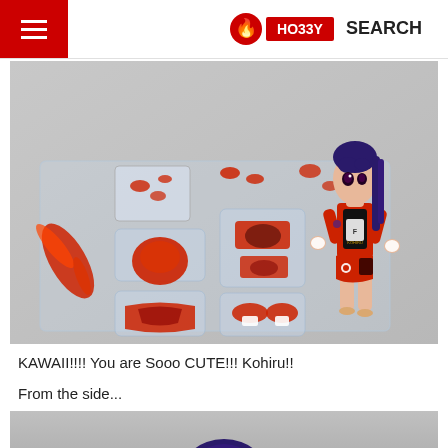HOBBY SEARCH
[Figure (photo): Product photo of an anime action figure (Kohiru) in a red racing suit with blue hair, shown assembled standing alongside its parts laid out in a clear plastic tray on a grey background.]
KAWAII!!!! You are Sooo CUTE!!! Kohiru!!
From the side...
[Figure (photo): Partial bottom photo showing the top of the same blue-haired anime figure from the side, cropped at the bottom of the page.]